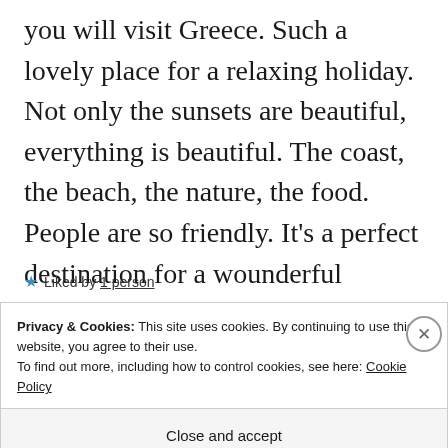you will visit Greece. Such a lovely place for a relaxing holiday. Not only the sunsets are beautiful, everything is beautiful. The coast, the beach, the nature, the food. People are so friendly. It’s a perfect destination for a wounderful vecation.
★ Liked by 1 person
Privacy & Cookies: This site uses cookies. By continuing to use this website, you agree to their use.
To find out more, including how to control cookies, see here: Cookie Policy
Close and accept